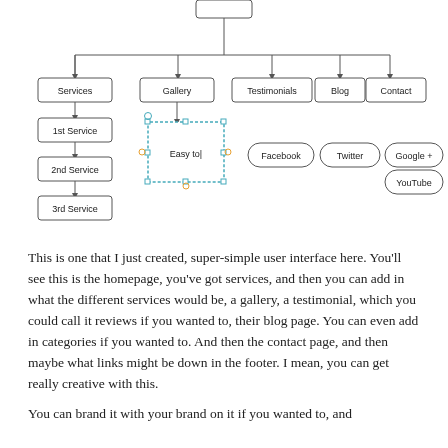[Figure (flowchart): Website sitemap flowchart showing homepage at top connecting to Services, Gallery, Testimonials, Blog, Contact. Services has sub-items: 1st Service, 2nd Service, 3rd Service. Gallery shows a selected/editing node labeled 'Easy to'. Social media nodes shown: Facebook, Twitter, Google+, YouTube.]
This is one that I just created, super-simple user interface here. You'll see this is the homepage, you've got services, and then you can add in what the different services would be, a gallery, a testimonial, which you could call it reviews if you wanted to, their blog page. You can even add in categories if you wanted to. And then the contact page, and then maybe what links might be down in the footer. I mean, you can get really creative with this.
You can brand it with your brand on it if you wanted to, and